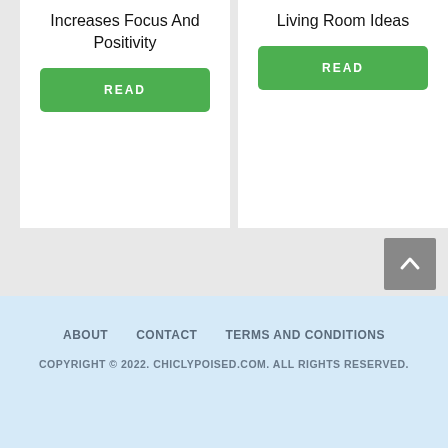Increases Focus And Positivity
Living Room Ideas
READ
READ
ABOUT   CONTACT   TERMS AND CONDITIONS
COPYRIGHT © 2022. CHICLYPOISED.COM. ALL RIGHTS RESERVED.